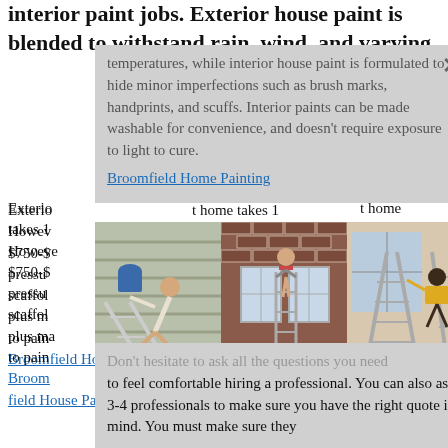interior paint jobs. Exterior house paint is blended to withstand rain, wind, and varying
temperatures, while interior house paint is formulated to hide minor imperfections such as brush marks, handprints, and scuffs. Interior paints can be made washable for convenience, and doesn't require exposure to light to cure.
Broomfield Home Painting
[Figure (photo): Three photos showing people in dangerous situations on ladders while painting or working on houses.]
Exterior painting of a home takes 1... However, $750-$... painting a pressure... s or scaffold... y, plus ma... possible to paint... 600.
Broomfield House Painting
Don't hesitate to ask all the questions you need to feel comfortable hiring a professional. You can also ask 3-4 professionals to make sure you have the right quote in mind. You must make sure they